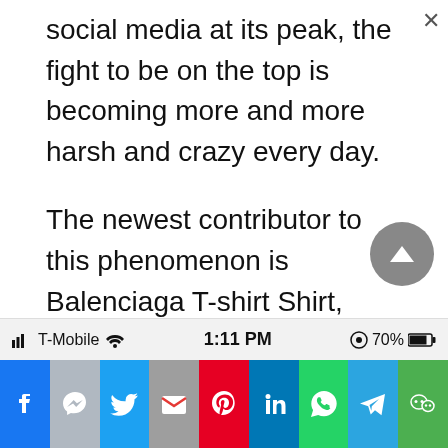social media at its peak, the fight to be on the top is becoming more and more harsh and crazy every day.
The newest contributor to this phenomenon is Balenciaga T-shirt Shirt, which is a t-shirt with a shirt attached to it. Can’t picture our words? Here’s a look at the masterpiece created by the high-fashion brand Balenciaga.
[Figure (screenshot): Mobile phone status bar showing T-Mobile carrier, WiFi signal, 1:11 PM time, and 70% battery]
[Figure (screenshot): Mobile app dock with icons for Facebook, Messenger, Twitter, Gmail, Pinterest, LinkedIn, WhatsApp, Telegram, WeChat]